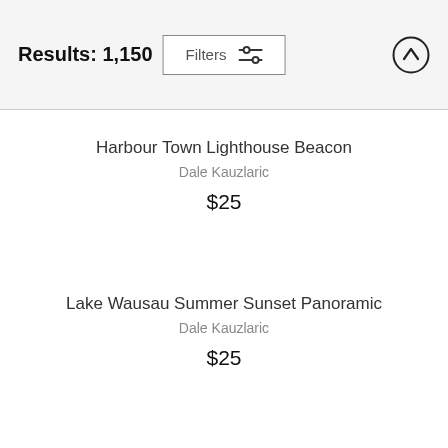Results: 1,150
Filters
Harbour Town Lighthouse Beacon
Dale Kauzlaric
$25
Lake Wausau Summer Sunset Panoramic
Dale Kauzlaric
$25
Light Fog Forming Over The Farm